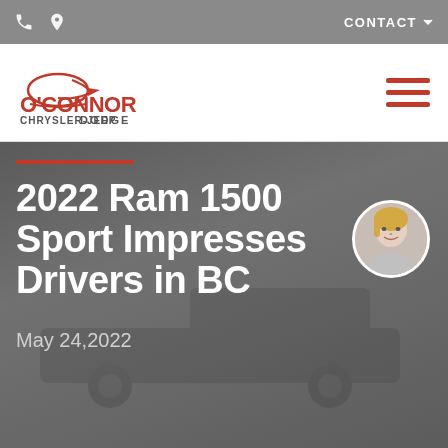CONTACT
[Figure (logo): O'Connor Dodge Chrysler-Jeep logo with red arrow car icon and brand name]
2022 Ram 1500 Sport Impresses Drivers in BC
May 24,2022